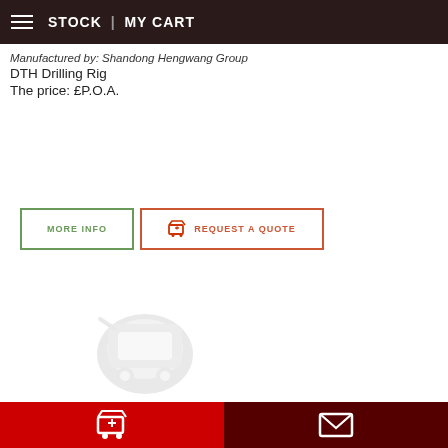STOCK | MY CART
Manufactured by: Shandong Hengwang Group
DTH Drilling Rig
The price: £P.O.A.
[Figure (screenshot): Two buttons: 'MORE INFO' with green border and 'REQUEST A QUOTE' with red cart icon and red border]
[Figure (logo): Faint watermark logo of a shopping cart]
Bottom navigation bar with cart icon (red) and envelope icon (dark red)